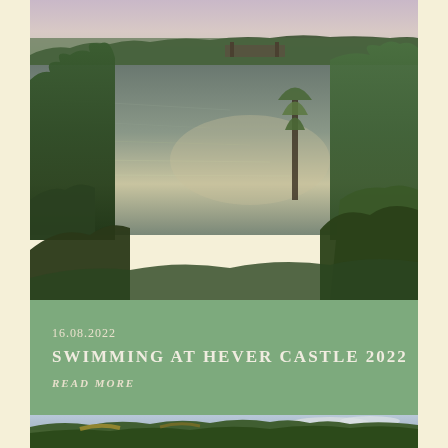[Figure (photo): Aerial view of a large lake at dusk surrounded by trees and lush green grounds, with reflections of the sky in the water and a structure visible in the background at Hever Castle]
16.08.2022
SWIMMING AT HEVER CASTLE 2022
READ MORE
[Figure (photo): Bottom strip of a photo showing tree canopy and sky at Hever Castle grounds]